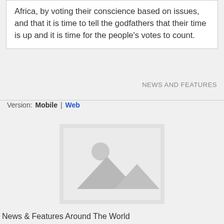Africa, by voting their conscience based on issues, and that it is time to tell the godfathers that their time is up and it is time for the people's votes to count.
NEWS AND FEATURES
Version: Mobile | Web
[Figure (photo): Placeholder image icon showing a landscape with mountain and circle (sun), rendered in light grey tones]
News & Features Around The World